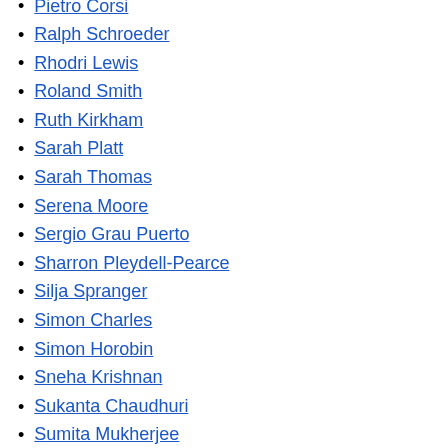Pietro Corsi
Ralph Schroeder
Rhodri Lewis
Roland Smith
Ruth Kirkham
Sarah Platt
Sarah Thomas
Serena Moore
Sergio Grau Puerto
Sharron Pleydell-Pearce
Silja Spranger
Simon Charles
Simon Horobin
Sneha Krishnan
Sukanta Chaudhuri
Sumita Mukherjee
Susan Walker
Sushila Burgess
Suzanne Romaine